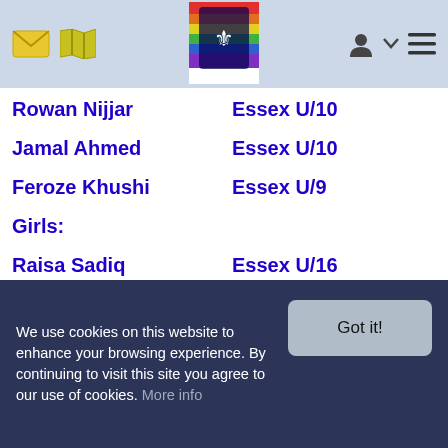Navigation header with mail icon, map icon, coat of arms logo, user icon, and menu icon
Rowan Nijjar    Essex U/10
Jamal Ahmed    Essex U/10
Feroze Khushi    Essex U/9
Girls:
Raisa Sadiq    Essex U/16
Louise Burgess    Essex U/14
Robyn Hail    Essex U/13
Sadie Lucas    Middlesex U/13
We use cookies on this website to enhance your browsing experience. By continuing to visit this site you agree to our use of cookies. More info  Got it!